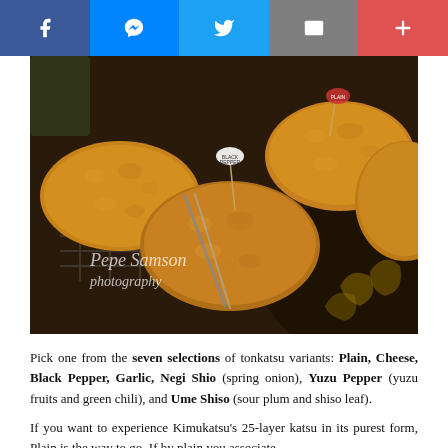[Figure (other): Social media share bar with Facebook, Messenger, Twitter, Email, and More (+) buttons]
[Figure (photo): Close-up photo of breaded tonkatsu pieces with toothpick labels, served in a dark pan on a wire rack. Watermark reads 'Pepe Samson photography'.]
Pick one from the seven selections of tonkatsu variants: Plain, Cheese, Black Pepper, Garlic, Negi Shio (spring onion), Yuzu Pepper (yuzu fruits and green chili), and Ume Shiso (sour plum and shiso leaf).
If you want to experience Kimukatsu's 25-layer katsu in its purest form, Plain is the way to go. If by plain you associate the meat to "lite" flavors, you are in luck as the Plain Plate is...